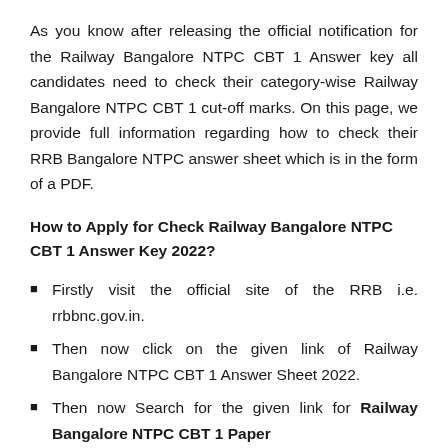As you know after releasing the official notification for the Railway Bangalore NTPC CBT 1 Answer key all candidates need to check their category-wise Railway Bangalore NTPC CBT 1 cut-off marks. On this page, we provide full information regarding how to check their RRB Bangalore NTPC answer sheet which is in the form of a PDF.
How to Apply for Check Railway Bangalore NTPC CBT 1 Answer Key 2022?
Firstly visit the official site of the RRB i.e. rrbbnc.gov.in.
Then now click on the given link of Railway Bangalore NTPC CBT 1 Answer Sheet 2022.
Then now Search for the given link for Railway Bangalore NTPC CBT 1 Paper